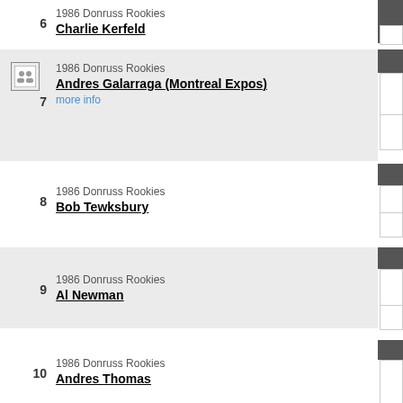6 — 1986 Donruss Rookies: Charlie Kerfeld
7 — 1986 Donruss Rookies: Andres Galarraga (Montreal Expos) — more info
8 — 1986 Donruss Rookies: Bob Tewksbury
9 — 1986 Donruss Rookies: Al Newman
10 — 1986 Donruss Rookies: Andres Thomas
11 — 1986 Donruss Rookies: Barry Bonds XRC (Pittsburgh Pirates)